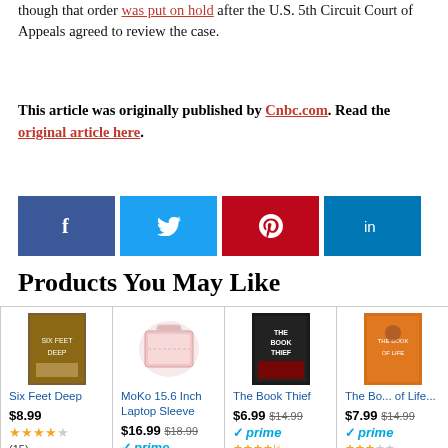though that order was put on hold after the U.S. 5th Circuit Court of Appeals agreed to review the case.
This article was originally published by Cnbc.com. Read the original article here.
[Figure (infographic): Social sharing buttons: Facebook (blue), Twitter (light blue), Pinterest (red), LinkedIn (dark blue)]
Products You May Like
| Product 1 | Product 2 | Product 3 | Product 4 |
| --- | --- | --- | --- |
| Six Feet Deep | MoKo 15.6 Inch Laptop Sleeve | The Book Thief | The Bo... of Life... |
| $8.99 | $16.99 $18.99 | $6.99 $14.99 | $7.99 $14.99 |
| prime | prime | prime | prime |
| ★★★★ (15) | ★★★★½ (1,663) | ★★★★½ (34,163) | ★★★ (15,896) |